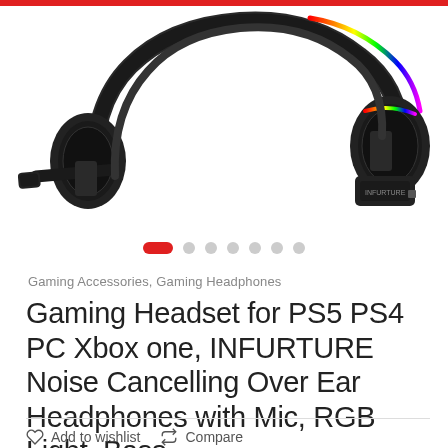[Figure (photo): Gaming headset with RGB lighting, over-ear design, with microphone boom arm extended to the left. Black headset with rainbow RGB strip on the top. Partial view showing the bottom portion of the headset.]
Gaming Accessories, Gaming Headphones
Gaming Headset for PS5 PS4 PC Xbox one, INFURTURE Noise Cancelling Over Ear Headphones with Mic, RGB Light, Bass...
Add to wishlist  Compare